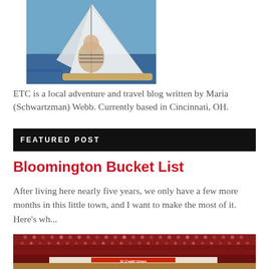[Figure (photo): Woman smiling on a sailboat, wearing a striped top, with sails and blue sky/water in the background]
ETC is a local adventure and travel blog written by Maria (Schwartzman) Webb. Currently based in Cincinnati, OH.
FEATURED POST
Bloomington Bucket List
After living here nearly five years, we only have a few more months in this little town, and I want to make the most of it. Here's wh...
[Figure (photo): Indoor sports arena (IU Assembly Hall) packed with fans wearing red, with an IU Credit Union banner visible on the scorers table]